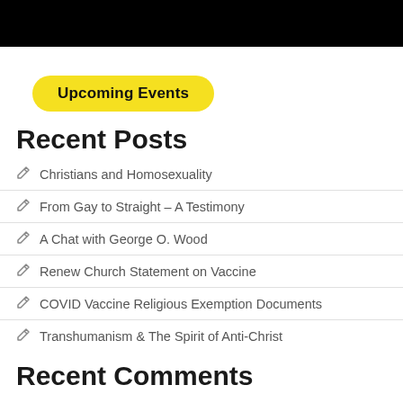[Figure (other): Black header bar at the top of the page]
Upcoming Events
Recent Posts
Christians and Homosexuality
From Gay to Straight – A Testimony
A Chat with George O. Wood
Renew Church Statement on Vaccine
COVID Vaccine Religious Exemption Documents
Transhumanism & The Spirit of Anti-Christ
Recent Comments